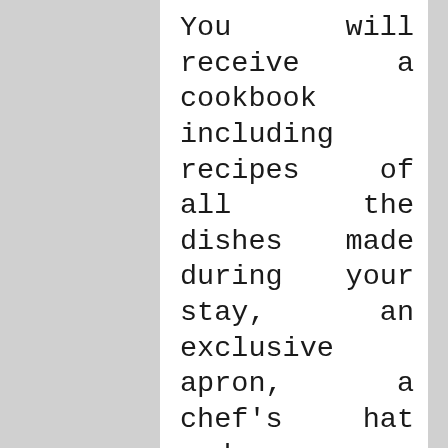You will receive a cookbook including recipes of all the dishes made during your stay, an exclusive apron, a chef's hat and a certificate on completion of the course. We have chosen dishes that can easily be made